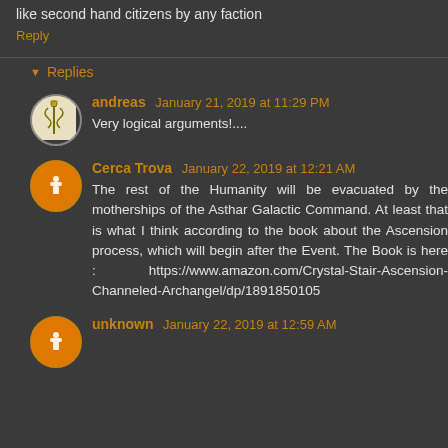like second hand citizens by any faction
Reply
Replies
andreas January 21, 2019 at 11:29 PM
Very logical arguments!....
Cerca Trova January 22, 2019 at 12:21 AM
The rest of the Humanity will be evacuated by the motherships of the Asthar Galactic Command. At least that is what I think according to the book about the Ascension process, which will begin after the Event. The Book is here : https://www.amazon.com/Crystal-Stair-Ascension-Channeled-Archangel/dp/1891850105
unknown January 22, 2019 at 12:59 AM